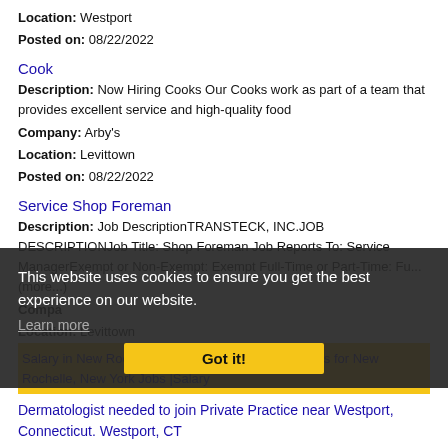Location: Westport
Posted on: 08/22/2022
Cook
Description: Now Hiring Cooks Our Cooks work as part of a team that provides excellent service and high-quality food
Company: Arby's
Location: Levittown
Posted on: 08/22/2022
Service Shop Foreman
Description: Job DescriptionTRANSTECK, INC.JOB DESCRIPTIONJob Title: Shop Foreman Job Reports To: Service ManagerExempt or Non-Exempt: Exempt Full-Time or Part-Time: Fu...(more...)
Company: Transteck Inc - Philadelphia
Location: Levittown
Posted on: 08/22/2022
This website uses cookies to ensure you get the best experience on our website.
Learn more
Got it!
Salary in New Rochelle, New York Area | More details for New Rochelle, New York Jobs |Salary
Dermatologist needed to join Private Practice near Westport, Connecticut. Westport, CT